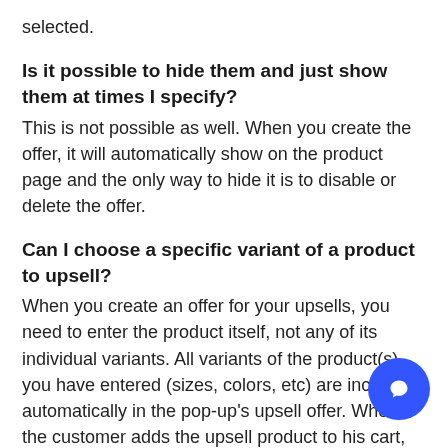selected.
Is it possible to hide them and just show them at times I specify?
This is not possible as well. When you create the offer, it will automatically show on the product page and the only way to hide it is to disable or delete the offer.
Can I choose a specific variant of a product to upsell?
When you create an offer for your upsells, you need to enter the product itself, not any of its individual variants. All variants of the product(s) you have entered (sizes, colors, etc) are included automatically in the pop-up's upsell offer. When the customer adds the upsell product to his cart, all the variants available for the product has chosen will appear and he can then choose from there.
[Figure (other): Blue circular chat/support button in the bottom right corner]